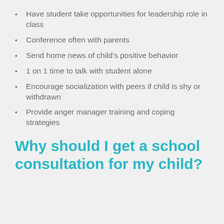Have student take opportunities for leadership role in class
Conference often with parents
Send home news of child's positive behavior
1 on 1 time to talk with student alone
Encourage socialization with peers if child is shy or withdrawn
Provide anger manager training and coping strategies
Why should I get a school consultation for my child?